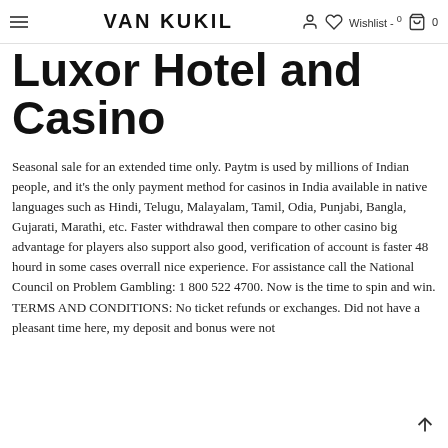VAN KUKIL  Wishlist - 0
Luxor Hotel and Casino
Seasonal sale for an extended time only. Paytm is used by millions of Indian people, and it's the only payment method for casinos in India available in native languages such as Hindi, Telugu, Malayalam, Tamil, Odia, Punjabi, Bangla, Gujarati, Marathi, etc. Faster withdrawal then compare to other casino big advantage for players also support also good, verification of account is faster 48 hourd in some cases overrall nice experience. For assistance call the National Council on Problem Gambling: 1 800 522 4700. Now is the time to spin and win. TERMS AND CONDITIONS: No ticket refunds or exchanges. Did not have a pleasant time here, my deposit and bonus were not